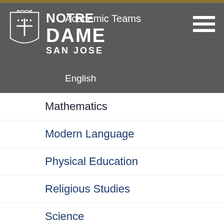[Figure (logo): Notre Dame San Jose school logo with shield/crest and school name text]
Academic Teams
English
Mathematics
Modern Language
Physical Education
Religious Studies
Science
Social Studies
Visual & Performing Arts
Publications